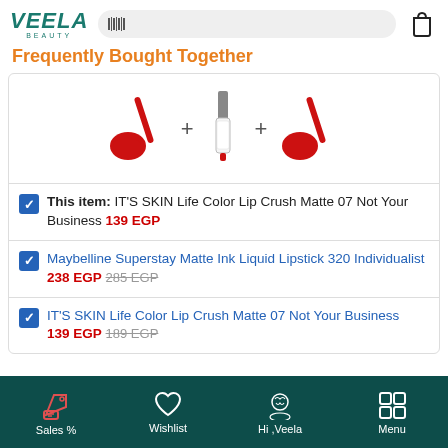Veela Beauty – search bar and bag icon
Frequently Bought Together
[Figure (illustration): Three cosmetic products (two red lip products and one lip gloss) shown with plus signs between them, indicating a bundle]
This item: IT'S SKIN Life Color Lip Crush Matte 07 Not Your Business 139 EGP
Maybelline Superstay Matte Ink Liquid Lipstick 320 Individualist 238 EGP 285 EGP
IT'S SKIN Life Color Lip Crush Matte 07 Not Your Business 139 EGP 189 EGP
Sales %  Wishlist  Hi, Veela  Menu